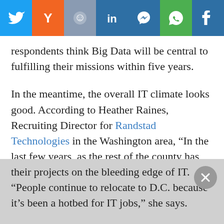[Figure (other): Social media share button bar with icons for Twitter, Y Combinator, Reddit, LinkedIn, Messenger, WhatsApp, and Facebook]
respondents think Big Data will be central to fulfilling their missions within five years.
In the meantime, the overall IT climate looks good. According to Heather Raines, Recruiting Director for Randstad Technologies in the Washington area, “In the last few years, as the rest of the county has seen increasing unemployment rates, the D.C. market has remained recession-proof.” She sees a “strong presence” of high-level IT jobs open in both government and non-government organizations. Local startups are looking for people with the newest skills and technologies to keep their projects on the bleeding edge of IT. “People continue to relocate to D.C. because it’s been a hotbed for IT jobs,” she says.